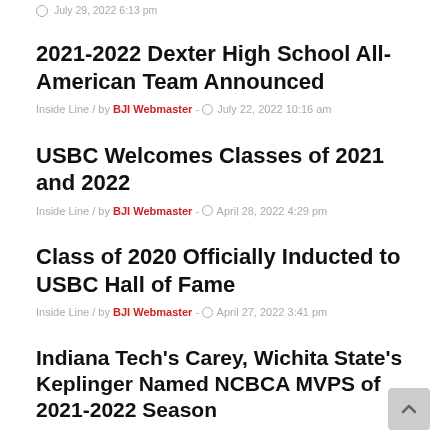July 29, 2022 6:13 pm
2021-2022 Dexter High School All-American Team Announced
Inside Line / by BJI Webmaster - July 22, 2022 10:16 am
USBC Welcomes Classes of 2021 and 2022
Inside Line / by BJI Webmaster - April 28, 2022 4:29 pm
Class of 2020 Officially Inducted to USBC Hall of Fame
Inside Line / by BJI Webmaster - April 27, 2022 3:41 pm
Indiana Tech's Carey, Wichita State's Keplinger Named NCBCA MVPS of 2021-2022 Season